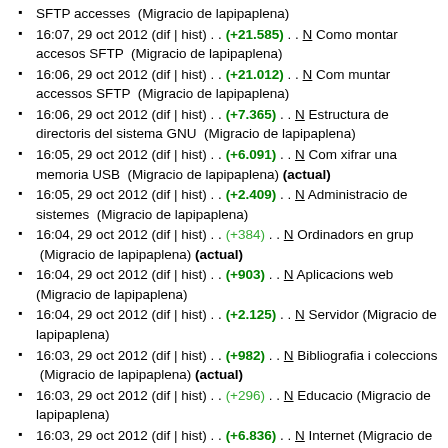SFTP accesses  (Migracio de lapipaplena)
16:07, 29 oct 2012 (dif | hist) . . (+21.585) . . N Como montar accesos SFTP  (Migracio de lapipaplena)
16:06, 29 oct 2012 (dif | hist) . . (+21.012) . . N Com muntar accessos SFTP  (Migracio de lapipaplena)
16:06, 29 oct 2012 (dif | hist) . . (+7.365) . . N Estructura de directoris del sistema GNU  (Migracio de lapipaplena)
16:05, 29 oct 2012 (dif | hist) . . (+6.091) . . N Com xifrar una memoria USB  (Migracio de lapipaplena) (actual)
16:05, 29 oct 2012 (dif | hist) . . (+2.409) . . N Administracio de sistemes  (Migracio de lapipaplena)
16:04, 29 oct 2012 (dif | hist) . . (+384) . . N Ordinadors en grup  (Migracio de lapipaplena) (actual)
16:04, 29 oct 2012 (dif | hist) . . (+903) . . N Aplicacions web  (Migracio de lapipaplena)
16:04, 29 oct 2012 (dif | hist) . . (+2.125) . . N Servidor  (Migracio de lapipaplena)
16:03, 29 oct 2012 (dif | hist) . . (+982) . . N Bibliografia i coleccions  (Migracio de lapipaplena) (actual)
16:03, 29 oct 2012 (dif | hist) . . (+296) . . N Educacio  (Migracio de lapipaplena)
16:03, 29 oct 2012 (dif | hist) . . (+6.836) . . N Internet  (Migracio de lapipaplena)
16:02, 29 oct 2012 (dif | hist) . . (+5.483) . . N Tractament de video  (Migracio de lapipaplena)